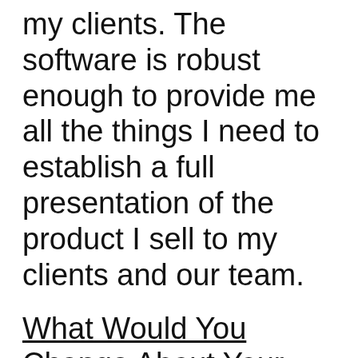my clients. The software is robust enough to provide me all the things I need to establish a full presentation of the product I sell to my clients and our team.
What Would You Change About Your Experience With Appround?